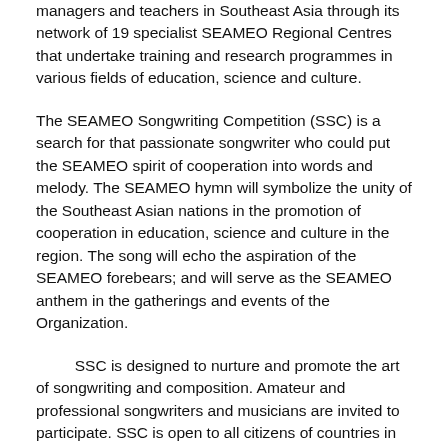managers and teachers in Southeast Asia through its network of 19 specialist SEAMEO Regional Centres that undertake training and research programmes in various fields of education, science and culture.
The SEAMEO Songwriting Competition (SSC) is a search for that passionate songwriter who could put the SEAMEO spirit of cooperation into words and melody. The SEAMEO hymn will symbolize the unity of the Southeast Asian nations in the promotion of cooperation in education, science and culture in the region. The song will echo the aspiration of the SEAMEO forebears; and will serve as the SEAMEO anthem in the gatherings and events of the Organization.
SSC is designed to nurture and promote the art of songwriting and composition. Amateur and professional songwriters and musicians are invited to participate. SSC is open to all citizens of countries in Southeast Asia (Brunei Darussalam, Cambodia, Indonesia, Lao PDR, Malaysia, Myanmar, Philippines, Singapore, Thailand, Timor-Leste and Vietnam). Staff members of SEAMEO Regional Centres, SEAMEO partners and Ministries of Education; as well as teachers and students in Southeast Asia may participate in the competition.